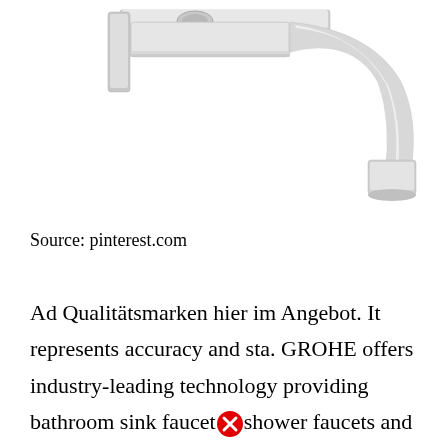[Figure (photo): Product photo of a chrome bathroom faucet with curved spout and separate handle/base, shown from an angle on a white background. Partially cropped at top.]
Source: pinterest.com
Ad Qualitätsmarken hier im Angebot. It represents accuracy and sta. GROHE offers industry-leading technology providing bathroom sink faucets shower faucets and